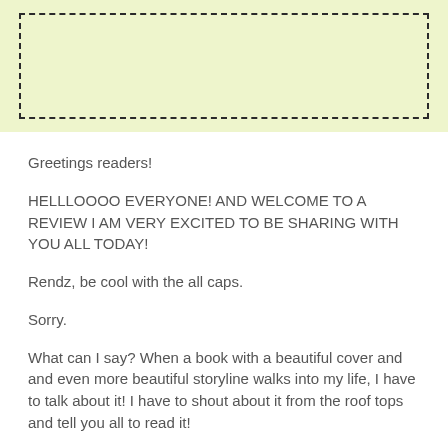[Figure (other): Light yellow-green banner area with a dashed-border rectangle placeholder box]
Greetings readers!
HELLLOOOO EVERYONE! AND WELCOME TO A REVIEW I AM VERY EXCITED TO BE SHARING WITH YOU ALL TODAY!
Rendz, be cool with the all caps.
Sorry.
What can I say? When a book with a beautiful cover and and even more beautiful storyline walks into my life, I have to talk about it! I have to shout about it from the roof tops and tell you all to read it!
It starts with this review, which–if I am honest–is a